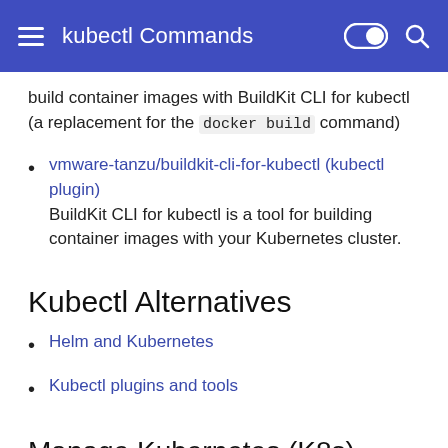kubectl Commands
build container images with BuildKit CLI for kubectl (a replacement for the docker build command)
vmware-tanzu/buildkit-cli-for-kubectl (kubectl plugin) BuildKit CLI for kubectl is a tool for building container images with your Kubernetes cluster.
Kubectl Alternatives
Helm and Kubernetes
Kubectl plugins and tools
Manage Kubernetes (K8s) objects with Ansible Kubernetes Module
Manage Kubernetes (K8s) objects...